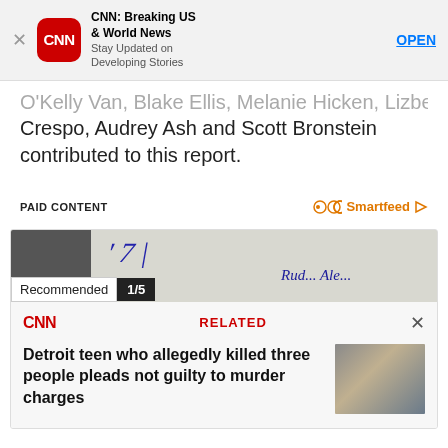[Figure (screenshot): CNN app banner with close button, CNN logo, app title 'CNN: Breaking US & World News', subtitle 'Stay Updated on Developing Stories', and OPEN button]
...O'Kelly Van, Blake Ellis, Melanie Hicken, Lizbel Crespo, Audrey Ash and Scott Bronstein contributed to this report.
PAID CONTENT    Smartfeed
[Figure (screenshot): Recommended 1/5 banner image with handwritten-style text]
CNN   RELATED   X
Detroit teen who allegedly killed three people pleads not guilty to murder charges